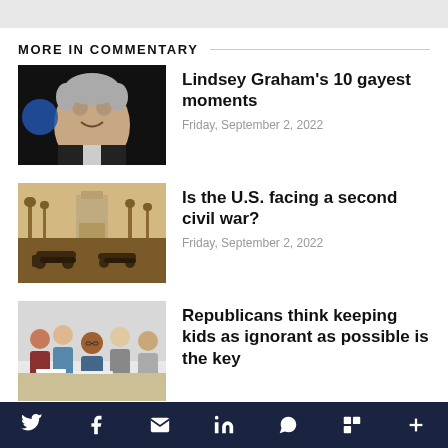MORE IN COMMENTARY
Lindsey Graham's 10 gayest moments
Friday, September 2, 2022
Is the U.S. facing a second civil war?
Friday, September 2, 2022
Republicans think keeping kids as ignorant as possible is the key
Social share bar: Twitter, Facebook, Email, LinkedIn, WhatsApp, Flipboard, More